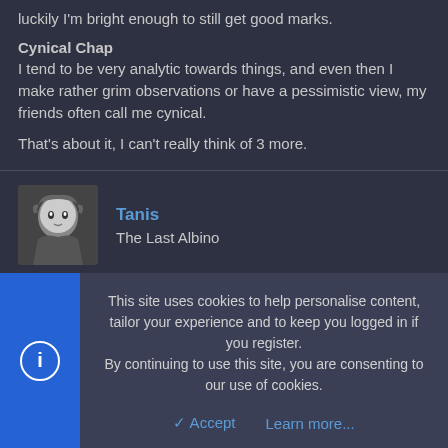luckily I'm bright enough to still get good marks.
Cynical Chap
I tend to be very analytic towards things, and even then I make rather grim observations or have a pessimistic view, my friends often call me cynical.
That's about it, I can't really think of 3 more.
Tanis
The Last Albino
Mar 3, 2013
#10
I can't stand people for long periods of time.
-Working in retail made me pro-choice.
This site uses cookies to help personalise content, tailor your experience and to keep you logged in if you register.
By continuing to use this site, you are consenting to our use of cookies.
Accept   Learn more...